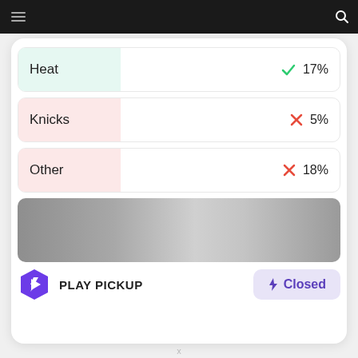Heat ✓ 17%
Knicks ✗ 5%
Other ✗ 18%
[Figure (other): Gray gradient banner/advertisement placeholder]
PLAY PICKUP  ⚡ Closed